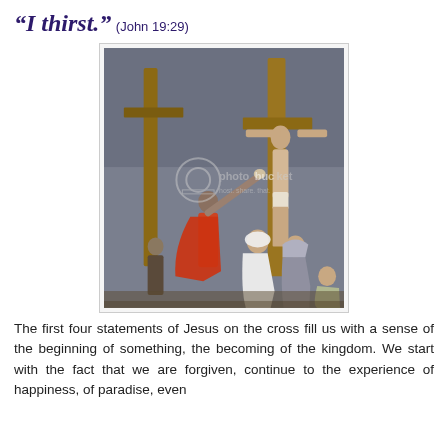“I thirst.” (John 19:29)
[Figure (illustration): A painting depicting the crucifixion of Jesus on the cross, with figures gathered at the base including a soldier in a red cloak holding up a sponge, women in white and grey robes mourning, and another cross visible in the background. A Photobucket watermark is visible in the center.]
The first four statements of Jesus on the cross fill us with a sense of the beginning of something, the becoming of the kingdom. We start with the fact that we are forgiven, continue to the experience of happiness, of paradise, even